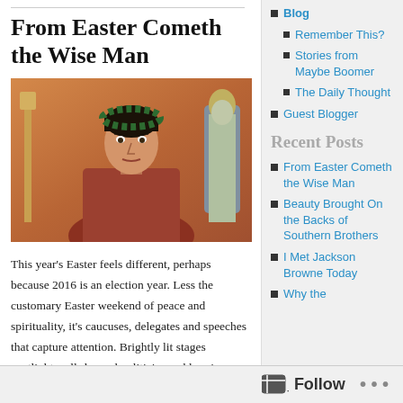Blog
Remember This?
Stories from Maybe Boomer
The Daily Thought
Guest Blogger
Recent Posts
From Easter Cometh the Wise Man
Beauty Brought On the Backs of Southern Brothers
I Met Jackson Browne Today
Why the
From Easter Cometh the Wise Man
[Figure (photo): A man wearing a laurel wreath crown, dressed in Roman-era costume, with a serious expression. Background shows Roman-style architecture and figures.]
This year's Easter feels different, perhaps because 2016 is an election year. Less the customary Easter weekend of peace and spirituality, it's caucuses, delegates and speeches that capture attention. Brightly lit stages spotlight well-dressed politicians addressing hysterical followings. (That the politicos resemble various dark horses and lame
Follow ...